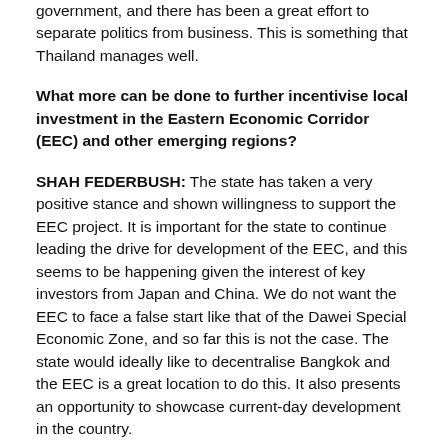government, and there has been a great effort to separate politics from business. This is something that Thailand manages well.
What more can be done to further incentivise local investment in the Eastern Economic Corridor (EEC) and other emerging regions?
SHAH FEDERBUSH: The state has taken a very positive stance and shown willingness to support the EEC project. It is important for the state to continue leading the drive for development of the EEC, and this seems to be happening given the interest of key investors from Japan and China. We do not want the EEC to face a false start like that of the Dawei Special Economic Zone, and so far this is not the case. The state would ideally like to decentralise Bangkok and the EEC is a great location to do this. It also presents an opportunity to showcase current-day development in the country.
Local investors in the corridor will not face any disadvantage compared to foreign companies; Thai corporates will also look at